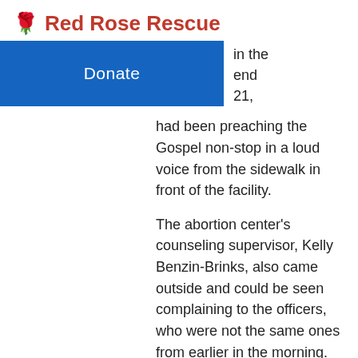🌹 Red Rose Rescue
Donate
in the end 21,
had been preaching the Gospel non-stop in a loud voice from the sidewalk in front of the facility.
The abortion center's counseling supervisor, Kelly Benzin-Brinks, also came outside and could be seen complaining to the officers, who were not the same ones from earlier in the morning. The new officers, Timothy Fischer and Jordyn Smith, informed the protestors that the driveway to the parking lot must remain clear and unobstructed. The pro-lifers agreed